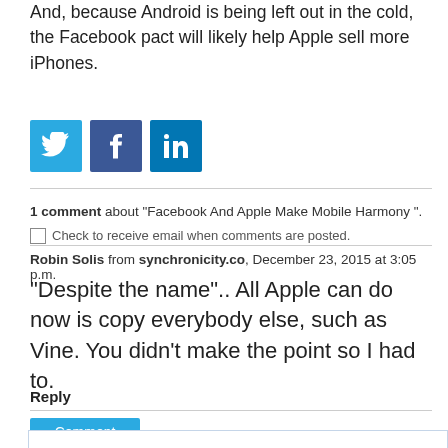And, because Android is being left out in the cold, the Facebook pact will likely help Apple sell more iPhones.
[Figure (other): Three social media share buttons: Twitter (bird icon, blue), Facebook (f icon, dark blue), LinkedIn (in icon, blue)]
1 comment about "Facebook And Apple Make Mobile Harmony ". Check to receive email when comments are posted.
Robin Solis from synchronicity.co, December 23, 2015 at 3:05 p.m. "Despite the name".. All Apple can do now is copy everybody else, such as Vine. You didn't make the point so I had to.
Reply
Comment
ABOUT THE AUTHOR